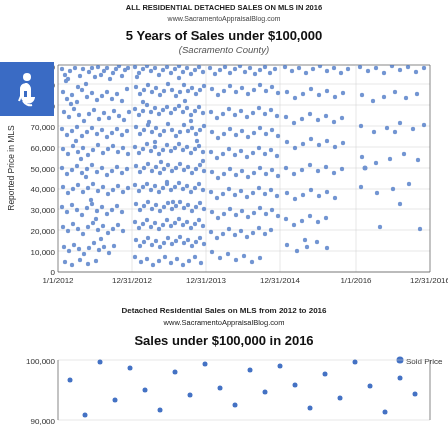www.SacramentoAppraisalBlog.com
[Figure (continuous-plot): Dense scatter plot of residential MLS sales in Sacramento County from 1/1/2012 to 12/31/2016, all priced under $100,000. Y-axis shows Reported Price in MLS from 0 to 100,000. Cloud of blue dots showing high density of sales in 2012-2014 tapering off toward 2016.]
Detached Residential Sales on MLS from 2012 to 2016
www.SacramentoAppraisalBlog.com
[Figure (continuous-plot): Scatter plot of residential MLS sales in Sacramento County in 2016 priced under $100,000. Y-axis from approximately 80,000 to 100,000 visible. Sparse blue dots labeled Sold Price.]